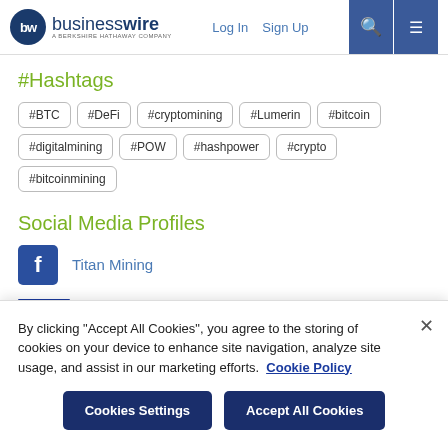businesswire — A Berkshire Hathaway Company | Log In | Sign Up
#Hashtags
#BTC
#DeFi
#cryptomining
#Lumerin
#bitcoin
#digitalmining
#POW
#hashpower
#crypto
#bitcoinmining
Social Media Profiles
Titan Mining
By clicking "Accept All Cookies", you agree to the storing of cookies on your device to enhance site navigation, analyze site usage, and assist in our marketing efforts. Cookie Policy
Cookies Settings | Accept All Cookies